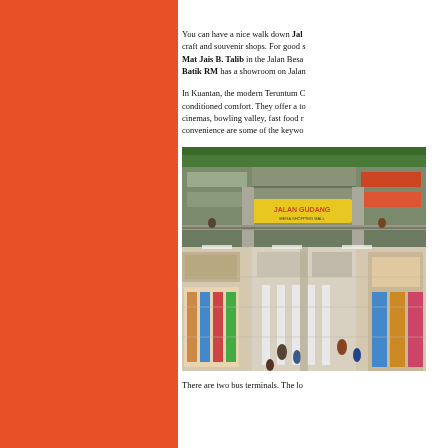You can have a nice walk down Jalan Besar which is lined with craft and souvenir shops. For good silk batik, try the shop of Mat Jais B. Talib in the Jalan Besar area. Batik RM has a showroom on Jalan...
In Kuantan, the modern Teruntum Complex offers air-conditioned comfort. They offer a total experience with cinemas, bowling valley, fast food restaurants. Space and convenience are some of the keywords here.
[Figure (photo): Interior of a large multi-level shopping mall showing stalls and stores on multiple floors, with shoppers browsing fabric and goods. A sign reading 'JALAN GUDANG' is visible in the center.]
There are two bus terminals. The lo...